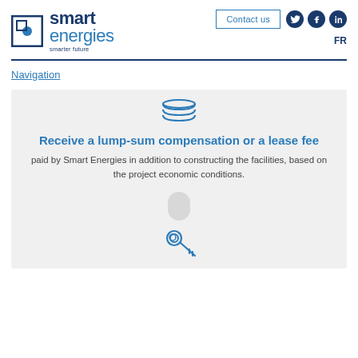Smart Energies — smarter future — Contact us — FR
Navigation
[Figure (illustration): Stack/database icon in blue outline style]
Receive a lump-sum compensation or a lease fee
paid by Smart Energies in addition to constructing the facilities, based on the project economic conditions.
[Figure (illustration): Key/wrench icon in blue outline style at bottom of next card]